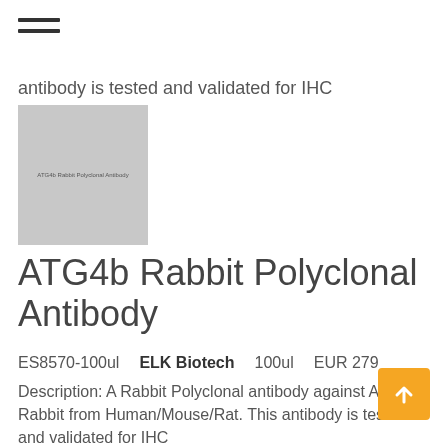≡ (hamburger menu icon)
antibody is tested and validated for IHC
[Figure (photo): Product image placeholder for ATG4b Rabbit Polyclonal Antibody (top)]
ATG4b Rabbit Polyclonal Antibody
ES8570-100ul    ELK Biotech    100ul    EUR 279
Description: A Rabbit Polyclonal antibody against ATG4b Rabbit from Human/Mouse/Rat. This antibody is tested and validated for IHC
[Figure (photo): Product image placeholder for ATG4b Rabbit Polyclonal Antibody (bottom)]